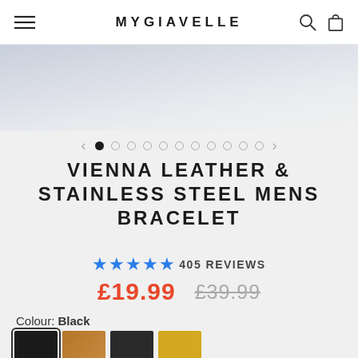MYGIAVELLE
[Figure (photo): Product image area showing a light marble/stone texture background in grey-blue tones]
< • ○ ○ ○ ○ ○ ○ ○ ○ ○ ○ >
VIENNA LEATHER & STAINLESS STEEL MENS BRACELET
★★★★★ 405 REVIEWS
£19.99  £39.99
Colour: Black
[Figure (other): Four colour swatches for bracelet: Black (selected), Tan/Brown, Dark Gray, and Gold/Yellow]